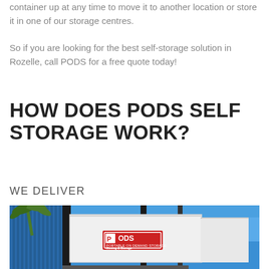container up at any time to move it to another location or store it in one of our storage centres.
So if you are looking for the best self-storage solution in Rozelle, call PODS for a free quote today!
HOW DOES PODS SELF STORAGE WORK?
WE DELIVER
[Figure (photo): Photo of a PODS Moving & Storage container being transported by a truck, with palm trees and blue sky in the background]